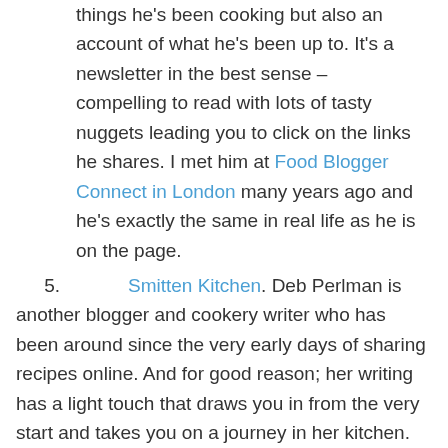things he's been cooking but also an account of what he's been up to. It's a newsletter in the best sense – compelling to read with lots of tasty nuggets leading you to click on the links he shares. I met him at Food Blogger Connect in London many years ago and he's exactly the same in real life as he is on the page.
5. Smitten Kitchen. Deb Perlman is another blogger and cookery writer who has been around since the very early days of sharing recipes online. And for good reason; her writing has a light touch that draws you in from the very start and takes you on a journey in her kitchen. Her recipes always work, probably down to her meticulous testing. Her first cookbook has splattered pages from being used in my kitchen so often. Younger teen loves her recipes even though she's vegan and Deb is not, and there are some favourite dishes without dairy that she cooks again and again (coincidentally